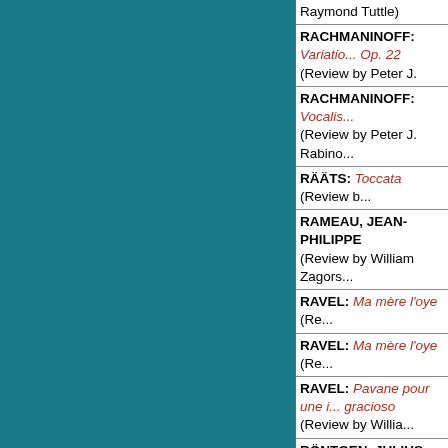Raymond Tuttle)
RACHMANINOFF: Variations on a Theme of Chopin, Op. 22 (Review by Peter J. ...
RACHMANINOFF: Vocalise (Review by Peter J. Rabinowitz)
RÄÄTS: Toccata (Review b...
RAMEAU, JEAN-PHILIPPE: ... (Review by William Zagors...
RAVEL: Ma mère l'oye (Re...
RAVEL: Ma mère l'oye (Re...
RAVEL: Pavane pour une infante défunte / Menuet gracioso (Review by Willia...
RÖNTGEN, JULIUS: Berge... Noriega)
RÖNTGEN, JULIUS: Berge... Rabinowitz)
SAINT-SAËNS: Le cygne (...
SATIE: Gnossienne No. 1. Rose+Croix (Review by Wi...
SCHUBERT: 12 German D... No. 23 in B♭ (Review by Ly...
SCHUBERT: 12 Ländler, D... Bayley)
SCHUBERT: 2 Klavierstück... by René Bayley)